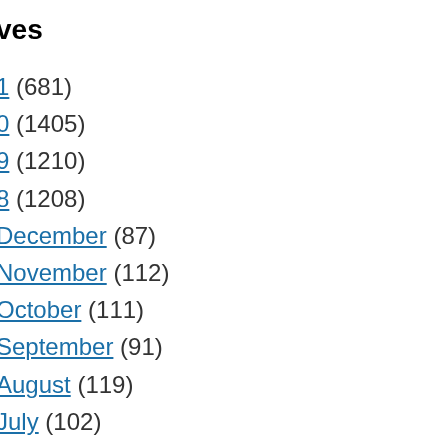ves
1 (681)
0 (1405)
9 (1210)
8 (1208)
December (87)
November (112)
October (111)
September (91)
August (119)
July (102)
June (79)
May (103)
April (125)
March (100)
February (76)